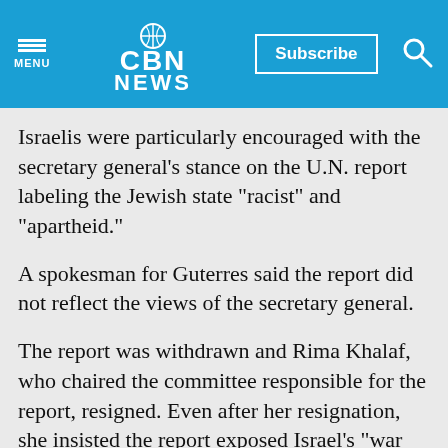[Figure (screenshot): CBN News website header with hamburger menu, CBN News logo, Subscribe button, and search icon on blue background]
Israelis were particularly encouraged with the secretary general's stance on the U.N. report labeling the Jewish state "racist" and "apartheid."
A spokesman for Guterres said the report did not reflect the views of the secretary general.
The report was withdrawn and Rima Khalaf, who chaired the committee responsible for the report, resigned. Even after her resignation, she insisted the report exposed Israel's "war crimes against humanity."